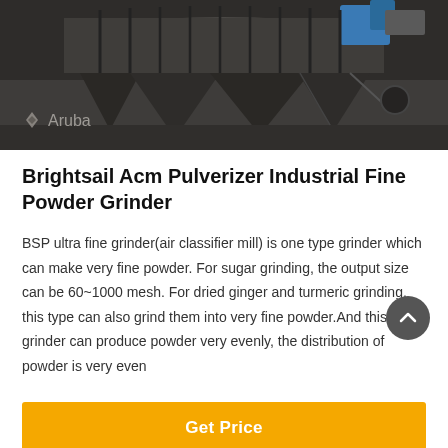[Figure (photo): Industrial machinery — large metal grinding/pulverizer equipment with hoppers in a factory setting. Aruba watermark logo at bottom left.]
Brightsail Acm Pulverizer Industrial Fine Powder Grinder
BSP ultra fine grinder(air classifier mill) is one type grinder which can make very fine powder. For sugar grinding, the output size can be 60~1000 mesh. For dried ginger and turmeric grinding, this type can also grind them into very fine powder.And this grinder can produce powder very evenly, the distribution of powder is very even
Get Price